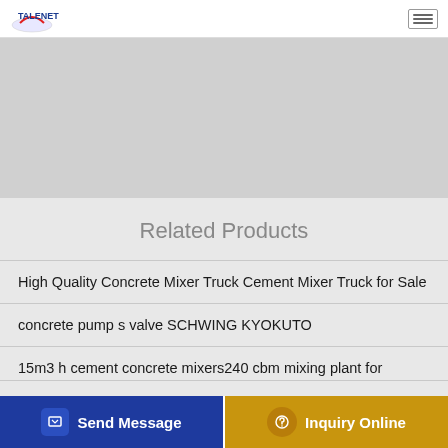TALENET (logo) — navigation menu
[Figure (photo): Gray background image area showing a concrete mixer or construction equipment scene, partially visible at top of page]
Related Products
High Quality Concrete Mixer Truck Cement Mixer Truck for Sale
concrete pump s valve SCHWING KYOKUTO
15m3 h cement concrete mixers240 cbm mixing plant for
Kubr Mortar Mixer Paddle M-60 SH 400mm